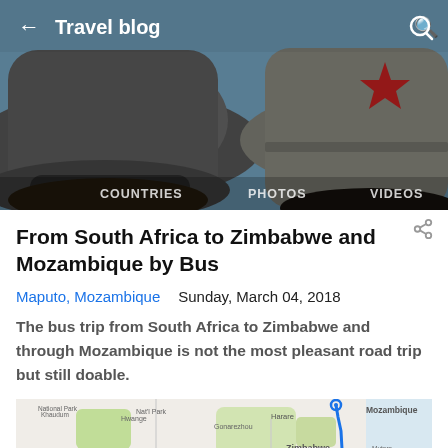[Figure (photo): Header photo of two people wearing hats (one gray bucket hat, one khaki hat with red star), with sky in background. App header with back arrow, 'Travel blog' title, search icon, and navigation tabs: COUNTRIES, PHOTOS, VIDEOS.]
From South Africa to Zimbabwe and Mozambique by Bus
Maputo, Mozambique   Sunday, March 04, 2018
The bus trip from South Africa to Zimbabwe and through Mozambique is not the most pleasant road trip but still doable.
[Figure (map): Map showing southern Africa with a blue route line traveling from Harare (Zimbabwe) southeast through Mozambique, passing through green national parks and terrain of Namibia, Botswana, Zimbabwe, and Mozambique.]